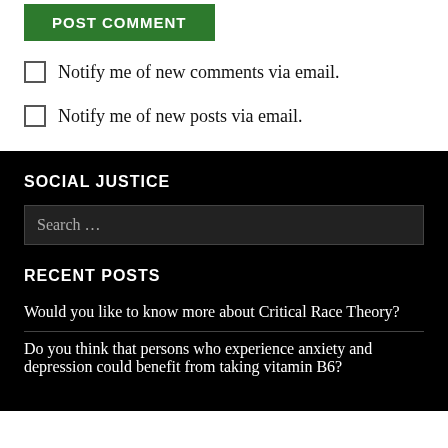POST COMMENT
Notify me of new comments via email.
Notify me of new posts via email.
SOCIAL JUSTICE
Search …
RECENT POSTS
Would you like to know more about Critical Race Theory?
Do you think that persons who experience anxiety and depression could benefit from taking vitamin B6?